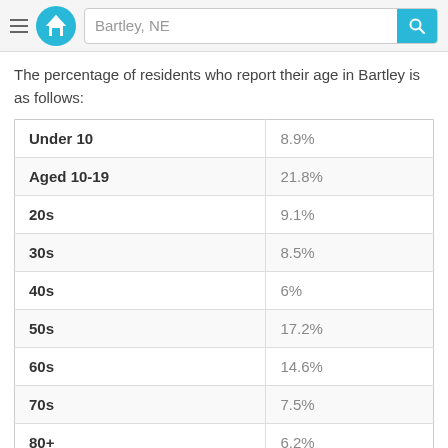Bartley, NE — search header
The percentage of residents who report their age in Bartley is as follows:
| Age Group | Percentage |
| --- | --- |
| Under 10 | 8.9% |
| Aged 10-19 | 21.8% |
| 20s | 9.1% |
| 30s | 8.5% |
| 40s | 6% |
| 50s | 17.2% |
| 60s | 14.6% |
| 70s | 7.5% |
| 80+ | 6.2% |